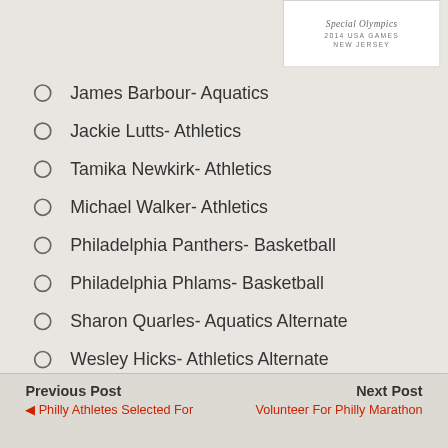[Figure (logo): Special Olympics 2014 USA Games New Jersey logo in white box]
James Barbour- Aquatics
Jackie Lutts- Athletics
Tamika Newkirk- Athletics
Michael Walker- Athletics
Philadelphia Panthers- Basketball
Philadelphia Phlams- Basketball
Sharon Quarles- Aquatics Alternate
Wesley Hicks- Athletics Alternate
Visit your local Wawa store to spare your change and help Team Pennsylvania go for the gold in 2014!
Previous Post
◁ Philly Athletes Selected For...
Next Post
Volunteer For Philly Marathon